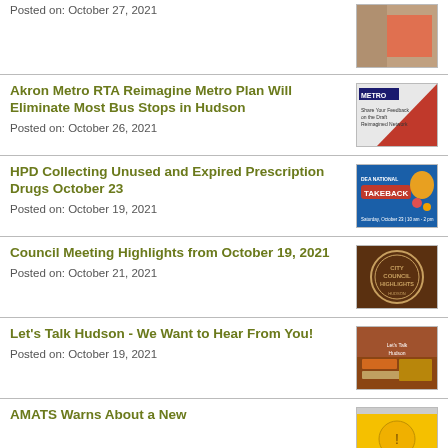Posted on: October 27, 2021
Akron Metro RTA Reimagine Metro Plan Will Eliminate Most Bus Stops in Hudson
Posted on: October 26, 2021
HPD Collecting Unused and Expired Prescription Drugs October 23
Posted on: October 19, 2021
Council Meeting Highlights from October 19, 2021
Posted on: October 21, 2021
Let's Talk Hudson - We Want to Hear From You!
Posted on: October 19, 2021
AMATS Warns About a New